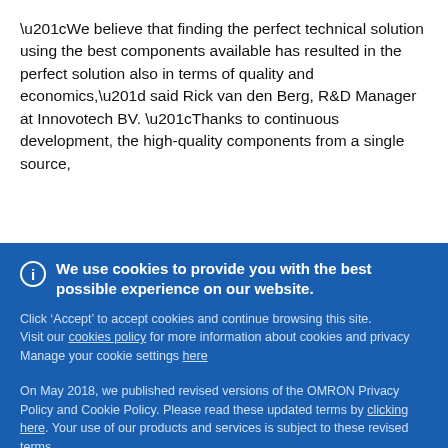“We believe that finding the perfect technical solution using the best components available has resulted in the perfect solution also in terms of quality and economics,” said Rick van den Berg, R&D Manager at Innovotech BV. “Thanks to continuous development, the high-quality components from a single source,
We use cookies to provide you with the best possible experience on our website.
Click ‘Accept’ to accept cookies and continue browsing this site. Visit our cookies policy for more information about cookies and privacy
Manage your cookie settings here
On May 2018, we published revised versions of the OMRON Privacy Policy and Cookie Policy. Please read these updated terms by clicking here. Your use of our products and services is subject to these revised terms
Accept